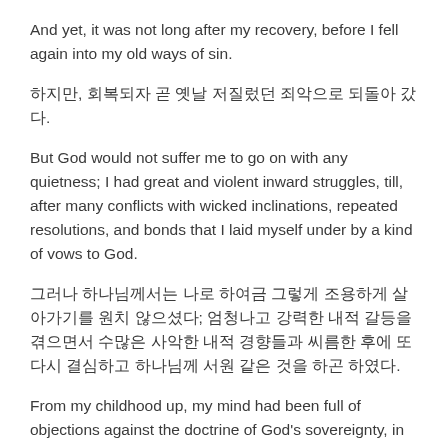And yet, it was not long after my recovery, before I fell again into my old ways of sin.
하지만, 회복되자 곧 옛날 저질렀던 죄악으로 되돌아 갔다.
But God would not suffer me to go on with any quietness; I had great and violent inward struggles, till, after many conflicts with wicked inclinations, repeated resolutions, and bonds that I laid myself under by a kind of vows to God.
그러나 하나님께서는 나로 하여금 그렇게 조용하게 살아가기를 원치 않으셨다; 엄청나고 강력한 내적 갈등을 겪으면서 수많은 사악한 내적 경향들과 씨름한 후에 또 다시 결심하고 하나님께 서원 같은 것을 하곤 하였다.
From my childhood up, my mind had been full of objections against the doctrine of God's sovereignty, in